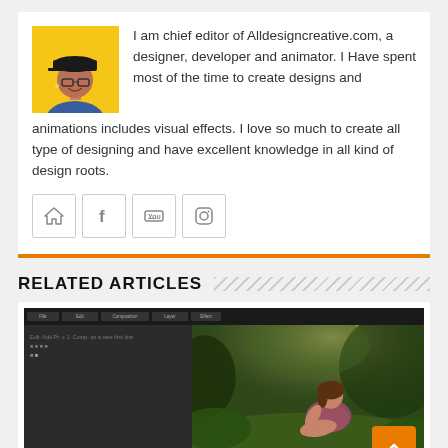[Figure (photo): Author profile photo: man with cap on yellow background]
I am chief editor of Alldesigncreative.com, a designer, developer and animator. I Have spent most of the time to create designs and animations includes visual effects. I love so much to create all type of designing and have excellent knowledge in all kind of design roots.
[Figure (infographic): Social media icons: home/website, Facebook, YouTube, Instagram]
RELATED ARTICLES
[Figure (screenshot): Screenshot of a video editing application (appears to be After Effects or Premiere Pro) showing a woman sitting outdoors in green nature on the right panel and dark editing interface on the left panel with timeline at bottom. An orange back-to-top button is visible in the lower right.]